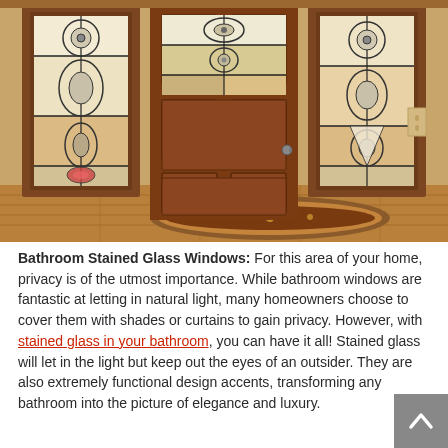[Figure (photo): Interior entryway showing a wooden front door flanked by two tall stained glass sidelite windows with ornate floral and geometric patterns. A decorative area rug is on the hardwood floor. The walls are warm beige/tan. The stained glass panels feature white and colored decorative leadwork.]
Bathroom Stained Glass Windows: For this area of your home, privacy is of the utmost importance. While bathroom windows are fantastic at letting in natural light, many homeowners choose to cover them with shades or curtains to gain privacy. However, with stained glass in your bathroom, you can have it all! Stained glass will let in the light but keep out the eyes of an outsider. They are also extremely functional design accents, transforming any bathroom into the picture of elegance and luxury.